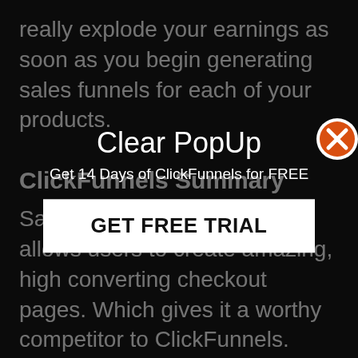really explode your earnings as soon as you begin generating sales funnels for each of your products.
ClickFunnels Summary
SamCart is a product which allows users to create amazing, high converting checkout pages. Which gives it a worthy competitor to ClickFunnels.
[Figure (screenshot): Clear PopUp modal overlay with title 'Clear PopUp', subtitle 'Get 14 Days of ClickFunnels for FREE', and a 'GET FREE TRIAL' button. An orange/red X close button is at the top right.]
SamCart is geared towards getting set up and selling quickly. It supports both Stripe and Paypal and it includes 17 distinct checkout page templates which you may customize.